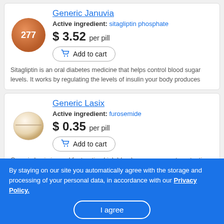Generic Januvia
Active ingredient: sitagliptin phosphate
$ 3.52 per pill
Add to cart
Sitagliptin is an oral diabetes medicine that helps control blood sugar levels. It works by regulating the levels of insulin your body produces
Generic Lasix
Active ingredient: furosemide
$ 0.35 per pill
Add to cart
Generic Lasix is used for treating high blood pressure or water retention
By staying on our site you automatically agree with the storage and processing of your personal data, in accordance with our Privacy Policy.
I agree